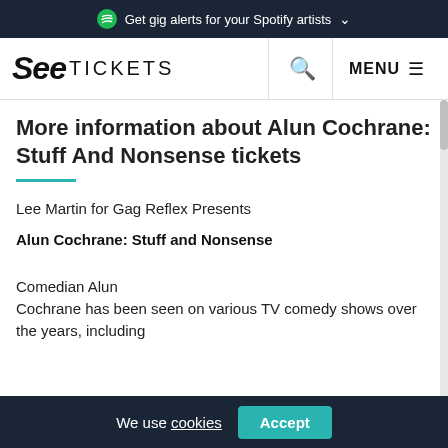Get gig alerts for your Spotify artists
See TICKETS  MENU
More information about Alun Cochrane: Stuff And Nonsense tickets
Lee Martin for Gag Reflex Presents
Alun Cochrane: Stuff and Nonsense
Comedian Alun Cochrane has been seen on various TV comedy shows over the years, including
We use cookies  Accept